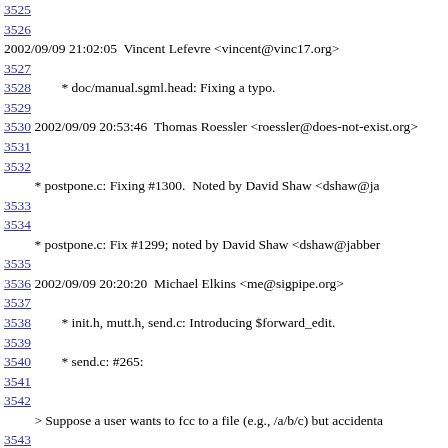3525
3526
2002/09/09 21:02:05  Vincent Lefevre <vincent@vinc17.org>
3527
3528       * doc/manual.sgml.head: Fixing a typo.
3529
3530 2002/09/09 20:53:46  Thomas Roessler <roessler@does-not-exist.org>
3531
3532
* postpone.c: Fixing #1300.  Noted by David Shaw <dshaw@ja
3533
3534
* postpone.c: Fix #1299; noted by David Shaw <dshaw@jabber
3535
3536 2002/09/09 20:20:20  Michael Elkins <me@sigpipe.org>
3537
3538       * init.h, mutt.h, send.c: Introducing $forward_edit.
3539
3540       * send.c: #265:
3541
3542
> Suppose a user wants to fcc to a file (e.g., /a/b/c) but accidenta
3543
> typed a = before the path name. Mutt will fail to find the =/a/b